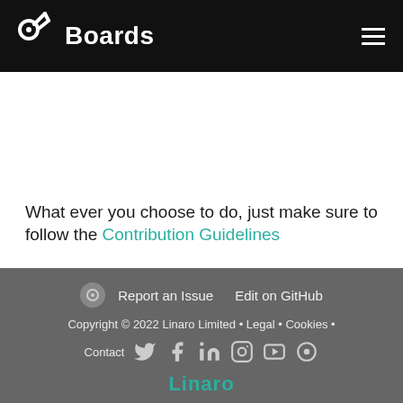[Figure (logo): 96Boards logo with text 'Boards' in white on black header, hamburger menu icon on right]
What ever you choose to do, just make sure to follow the Contribution Guidelines
Report an Issue   Edit on GitHub   Copyright © 2022 Linaro Limited • Legal • Cookies • Contact   [social icons]   Linaro